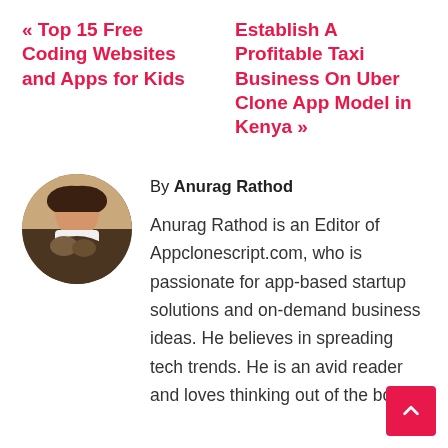« Top 15 Free Coding Websites and Apps for Kids
Establish A Profitable Taxi Business On Uber Clone App Model in Kenya »
By Anurag Rathod
[Figure (photo): Circular profile photo of Anurag Rathod, a man sitting with a dog, warm toned indoor background]
Anurag Rathod is an Editor of Appclonescript.com, who is passionate for app-based startup solutions and on-demand business ideas. He believes in spreading tech trends. He is an avid reader and loves thinking out of the box to